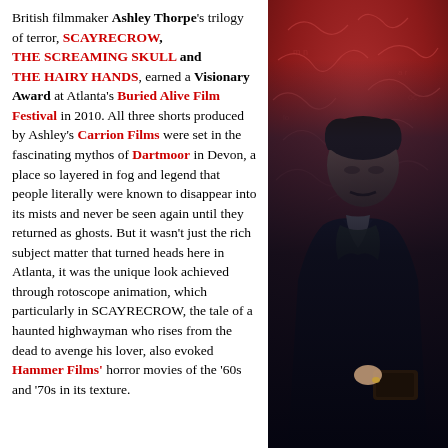British filmmaker Ashley Thorpe's trilogy of terror, SCAYRECROW, THE SCREAMING SKULL and THE HAIRY HANDS, earned a Visionary Award at Atlanta's Buried Alive Film Festival in 2010. All three shorts produced by Ashley's Carrion Films were set in the fascinating mythos of Dartmoor in Devon, a place so layered in fog and legend that people literally were known to disappear into its mists and never be seen again until they returned as ghosts. But it wasn't just the rich subject matter that turned heads here in Atlanta, it was the unique look achieved through rotoscope animation, which particularly in SCAYRECROW, the tale of a haunted highwayman who rises from the dead to avenge his lover, also evoked Hammer Films' horror movies of the '60s and '70s in its texture.
[Figure (photo): A man in a dark coat and white shirt with a green scarf, photographed against a red graffiti-covered wall, holding a book or object, lit dramatically.]
Ashley wasn't able to attend the last